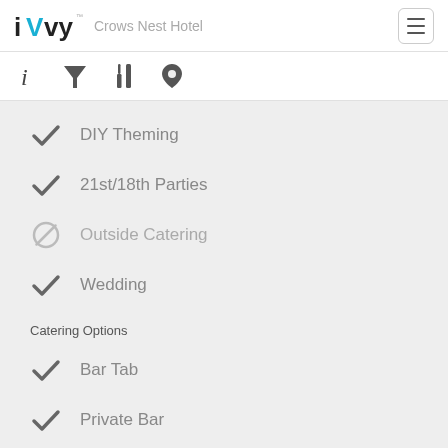iVvy — Crows Nest Hotel
DIY Theming
21st/18th Parties
Outside Catering
Wedding
Catering Options
Bar Tab
Private Bar
Gluten Free